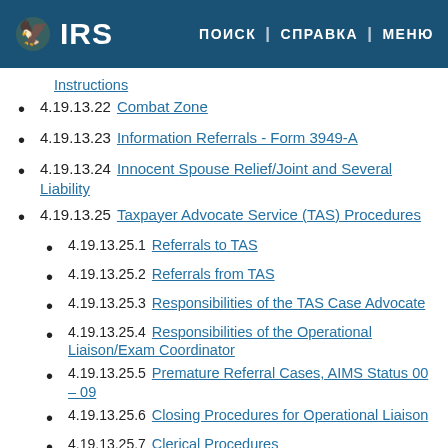IRS | ПОИСК | СПРАВКА | МЕНЮ
Instructions
4.19.13.22 Combat Zone
4.19.13.23 Information Referrals - Form 3949-A
4.19.13.24 Innocent Spouse Relief/Joint and Several Liability
4.19.13.25 Taxpayer Advocate Service (TAS) Procedures
4.19.13.25.1 Referrals to TAS
4.19.13.25.2 Referrals from TAS
4.19.13.25.3 Responsibilities of the TAS Case Advocate
4.19.13.25.4 Responsibilities of the Operational Liaison/Exam Coordinator
4.19.13.25.5 Premature Referral Cases, AIMS Status 00 – 09
4.19.13.25.6 Closing Procedures for Operational Liaison
4.19.13.25.7 Clerical Procedures
4.19.13.25.8 General Examination